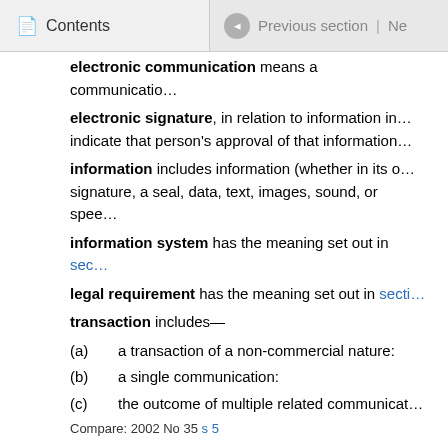Contents | Previous section | Ne
electronic communication means a communicatio…
electronic signature, in relation to information in… indicate that person's approval of that information…
information includes information (whether in its o… signature, a seal, data, text, images, sound, or spee…
information system has the meaning set out in sec…
legal requirement has the meaning set out in secti…
transaction includes—
(a)   a transaction of a non-commercial nature:
(b)   a single communication:
(c)   the outcome of multiple related communicat…
Compare: 2002 No 35 s 5
210   Further provision relating to interpreta…
In interpreting this Part, reference may be made to—
(a)   the Model Law on Electronic Commerce ad… on 16 December 1996: